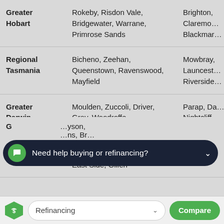| Region | Low demand suburbs | High demand suburbs |
| --- | --- | --- |
| Greater Hobart | Rokeby, Risdon Vale, Bridgewater, Warrane, Primrose Sands | Brighton, Claremo…, Blackmar… |
| Regional Tasmania | Bicheno, Zeehan, Queenstown, Ravenswood, Mayfield | Mowbray, Launcest…, Riverside… |
| Greater Darwin | Moulden, Zuccoli, Driver, Gray, Woodroffe | Parap, Da…, Nightcliff…, Coconut… |
| Regional NT | Sadadeen, Araluen, Braitling, East Side, Gillen | Gillen |
| G… | …yon,…ns, Br… |  |
Need help buying or refinancing?
Refinancing
Compare